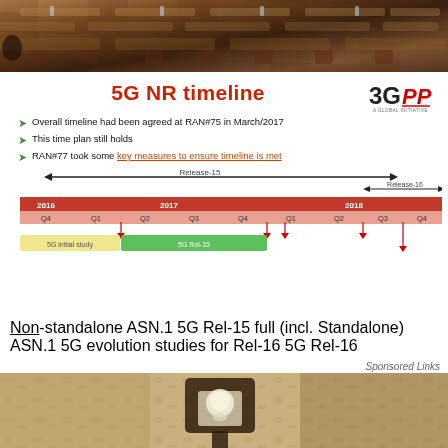[Figure (photo): Conference room photo with rows of tables and chairs]
5G NR timeline
[Figure (logo): 3GPP A Global Initiative logo]
Overall timeline had been agreed at RAN#75 in March/2017
This time plan still holds
RAN#77 took some key measures to ensure timeline is met
[Figure (infographic): 5G NR timeline chart showing Release-15 and Release-16 schedules across 2016-2018 quarters, with bars for 5G initial study, 5G Rel-15 Non-standalone, ASN.1, 5G Rel-15 full (incl. Standalone), ASN.1, 5G evolution studies for Rel-16, and 5G Rel-16]
Sponsored Links
[Figure (photo): Outdoor wall-mounted lamp/lantern photo]